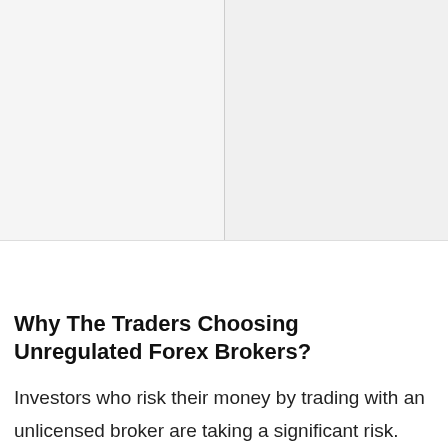[Figure (other): Advertisement banner showing 'World Market' text in cyan/teal, a small red logo text, a navigation arrow and X icon in cyan, and 'Dulles OPEN 10AM-8' text]
…nancial losses if they meet complications.
Why The Traders Choosing Unregulated Forex Brokers?
Investors who risk their money by trading with an unlicensed broker are taking a significant risk. 'Choosing a registered broker protects traders against maltreatment and fraud, which is essential in any situation when things go awry.